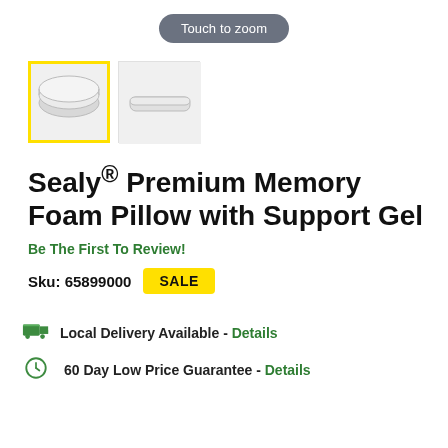Touch to zoom
[Figure (photo): Two product thumbnail images of a pillow. First is selected with yellow border, second is unselected.]
Sealy® Premium Memory Foam Pillow with Support Gel
Be The First To Review!
Sku: 65899000  SALE
Local Delivery Available - Details
60 Day Low Price Guarantee - Details